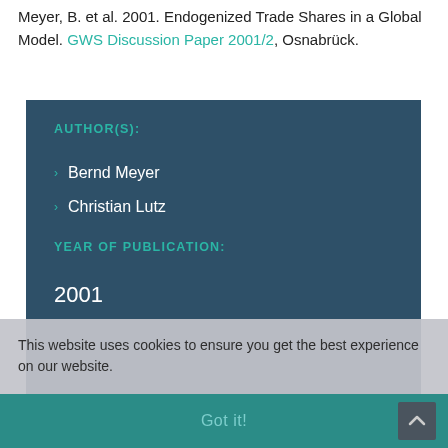Meyer, B. et al. 2001. Endogenized Trade Shares in a Global Model. GWS Discussion Paper 2001/2, Osnabrück.
AUTHOR(S):
Bernd Meyer
Christian Lutz
YEAR OF PUBLICATION:
2001
This website uses cookies to ensure you get the best experience on our website.
Got it!